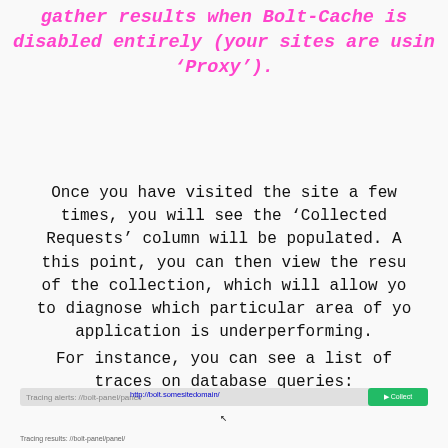gather results when Bolt-Cache is disabled entirely (your sites are using 'Proxy').
Once you have visited the site a few times, you will see the 'Collected Requests' column will be populated. At this point, you can then view the results of the collection, which will allow you to diagnose which particular area of your application is underperforming.
For instance, you can see a list of traces on database queries:
[Figure (screenshot): Partial screenshot of a web application interface showing a browser bar and a green button at the bottom of the page.]